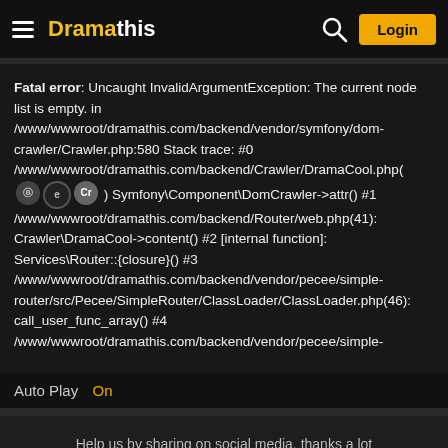Dramathis — navigation header with hamburger menu, logo, search icon, and Login button
Fatal error: Uncaught InvalidArgumentException: The current node list is empty. in /www/wwwroot/dramathis.com/backend/vendor/symfony/dom-crawler/Crawler.php:580 Stack trace: #0 /www/wwwroot/dramathis.com/backend/Crawler/DramaCool.php( Symfony\Component\DomCrawler->attr() #1 /www/wwwroot/dramathis.com/backend/Router/web.php(41): Crawler\DramaCool->content() #2 [internal function]: Services\Router::{closure}() #3 /www/wwwroot/dramathis.com/backend/vendor/pecee/simple-router/src/Pecee/SimpleRouter/ClassLoader/ClassLoader.php(46): call_user_func_array() #4 /www/wwwroot/dramathis.com/backend/vendor/pecee/simple-
Auto Play  On
Help us by sharing on social media, thanks a lot
List of episodes: